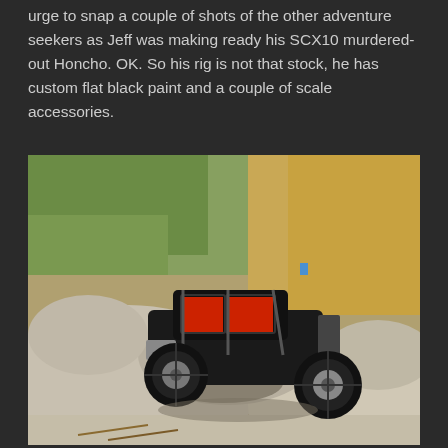urge to snap a couple of shots of the other adventure seekers as Jeff was making ready his SCX10 murdered-out Honcho. OK. So his rig is not that stock, he has custom flat black paint and a couple of scale accessories.
[Figure (photo): A black SCX10 Honcho RC crawler with red interior navigating over large rocks at an outdoor rocky terrain site. The background shows sandy cliffs and some green vegetation.]